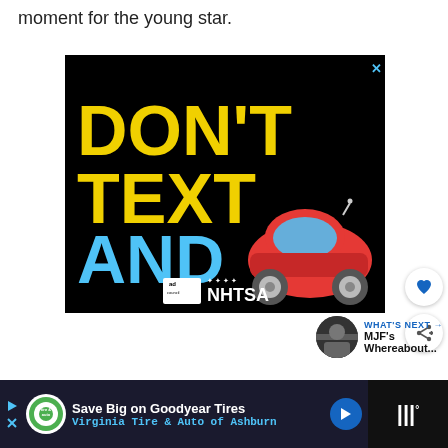moment for the young star.
[Figure (infographic): Don't Text and Drive public safety advertisement. Black background with 'DON'T TEXT' in large yellow text and 'AND' in large cyan text next to a red car emoji. Ad Council and NHTSA logos at the bottom. Close button (X) at top right.]
[Figure (infographic): What's Next panel showing a thumbnail image of MJF with text 'WHAT'S NEXT → MJF's Whereabout...']
[Figure (infographic): Bottom banner advertisement: Save Big on Goodyear Tires - Virginia Tire & Auto of Ashburn, with tire logo and navigation arrow. Dark panel on right with weather widget.]